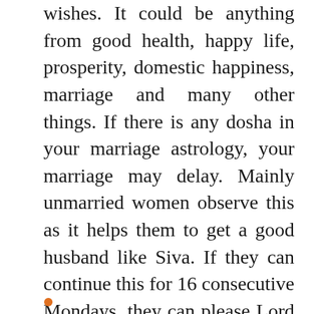wishes. It could be anything from good health, happy life, prosperity, domestic happiness, marriage and many other things. If there is any dosha in your marriage astrology, your marriage may delay. Mainly unmarried women observe this as it helps them to get a good husband like Siva. If they can continue this for 16 consecutive Mondays, they can please Lord Shiva and get a good husband. One should observe fasting with a pure heart and complete devotion. Get rid of all negativities away from you to get a good outcome out of this fasting.